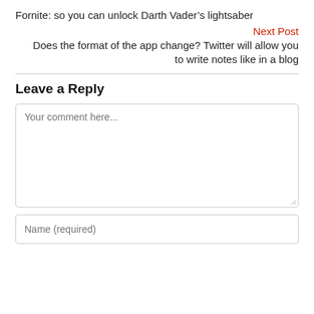Fornite: so you can unlock Darth Vader's lightsaber
Next Post
Does the format of the app change? Twitter will allow you to write notes like in a blog
Leave a Reply
Your comment here...
Name (required)